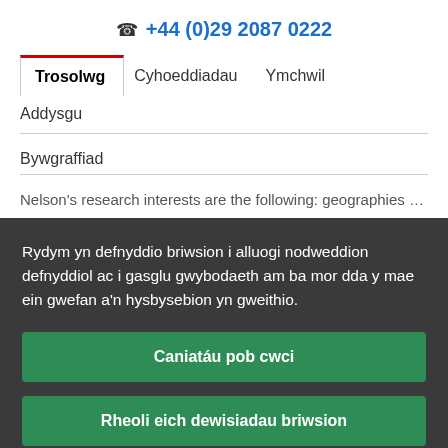☎ +44 (0)29 2087 0222
Trosolwg | Cyhoeddiadau | Ymchwil | Addysgu | Bywgraffiad
Nelson's research interests are the following: geographies e…
Rydym yn defnyddio briwsion i alluogi nodweddion defnyddiol ac i gasglu gwybodaeth am ba mor dda y mae ein gwefan a'n hysbysebion yn gweithio.
Caniatáu pob cwci
Rheoli eich dewisiadau briwsion